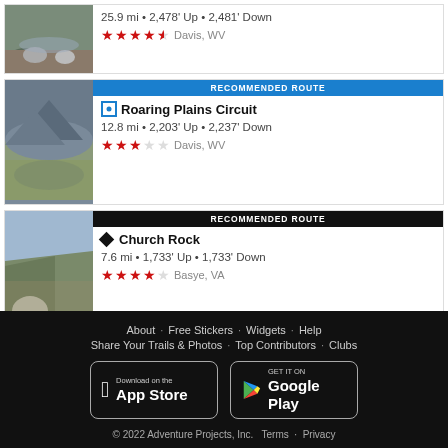[Figure (photo): Partial trail card showing rocky stream photo, 25.9 mi route stats and 4.5 stars, Davis, WV]
25.9 mi • 2,478' Up • 2,481' Down
★★★★½ Davis, WV
RECOMMENDED ROUTE
[Figure (photo): Mountain trail scenic photo for Roaring Plains Circuit]
Roaring Plains Circuit
12.8 mi • 2,203' Up • 2,237' Down
★★★☆☆ Davis, WV
RECOMMENDED ROUTE
[Figure (photo): Scenic trail photo for Church Rock route]
Church Rock
7.6 mi • 1,733' Up • 1,733' Down
★★★★☆ Basye, VA
About · Free Stickers · Widgets · Help · Share Your Trails & Photos · Top Contributors · Clubs © 2022 Adventure Projects, Inc. Terms · Privacy